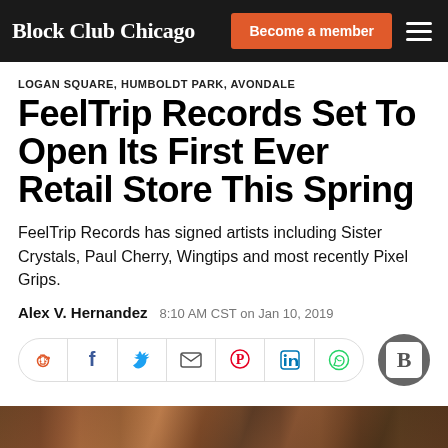Block Club Chicago | Become a member
LOGAN SQUARE, HUMBOLDT PARK, AVONDALE
FeelTrip Records Set To Open Its First Ever Retail Store This Spring
FeelTrip Records has signed artists including Sister Crystals, Paul Cherry, Wingtips and most recently Pixel Grips.
Alex V. Hernandez   8:10 AM CST on Jan 10, 2019
[Figure (other): Social share icons bar with Reddit, Facebook, Twitter, Email, Pinterest, LinkedIn, WhatsApp icons and a Block Club Chicago B logo circle]
[Figure (photo): Partial bottom strip of a photo, appears to show people or event scene]